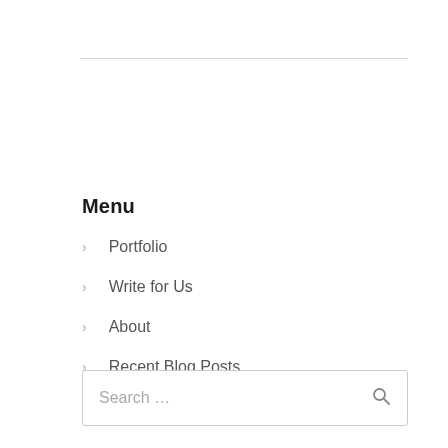Menu
Portfolio
Write for Us
About
Recent Blog Posts
Search …